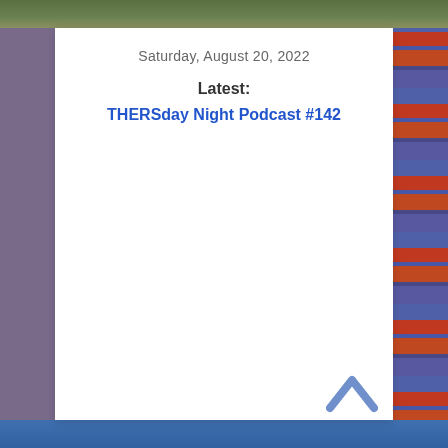[Figure (photo): Stadium background with seats visible on left, right, top and bottom edges of the page]
Saturday, August 20, 2022
Latest:
THERSday Night Podcast #142